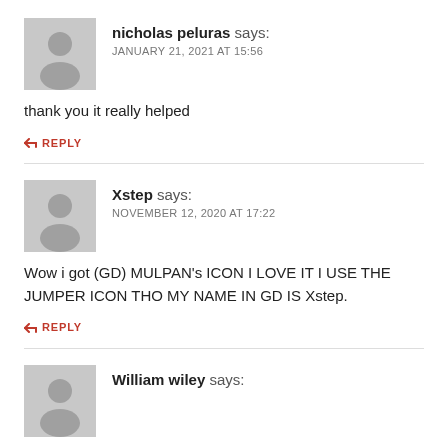nicholas peluras says:
JANUARY 21, 2021 AT 15:56
thank you it really helped
↩ REPLY
Xstep says:
NOVEMBER 12, 2020 AT 17:22
Wow i got (GD) MULPAN's ICON I LOVE IT I USE THE JUMPER ICON THO MY NAME IN GD IS Xstep.
↩ REPLY
William wiley says: